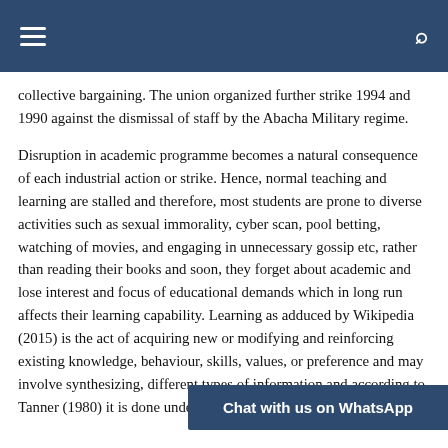collective bargaining. The union organized further strike 1994 and 1990 against the dismissal of staff by the Abacha Military regime.
Disruption in academic programme becomes a natural consequence of each industrial action or strike. Hence, normal teaching and learning are stalled and therefore, most students are prone to diverse activities such as sexual immorality, cyber scan, pool betting, watching of movies, and engaging in unnecessary gossip etc, rather than reading their books and soon, they forget about academic and lose interest and focus of educational demands which in long run affects their learning capability. Learning as adduced by Wikipedia (2015) is the act of acquiring new or modifying and reinforcing existing knowledge, behaviour, skills, values, or preference and may involve synthesizing, different types of information and according to Tanner (1980) it is done under the ausp
Chat with us on WhatsApp